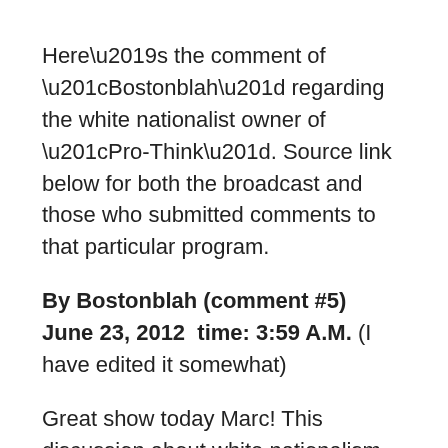Here’s the comment of “Bostonblah” regarding the white nationalist owner of “Pro-Think”. Source link below for both the broadcast and those who submitted comments to that particular program.
By Bostonblah (comment #5)   June 23, 2012  time: 3:59 A.M. (I have edited it somewhat)
Great show today Marc! This discussion about white nationalism needs to take place. Just the other day I was watching a video by Mike of ProThink about Trayvon Martin, in which he called Martin a “nigger” and “little thug”.
And, I am just bewildered how someone, who made such